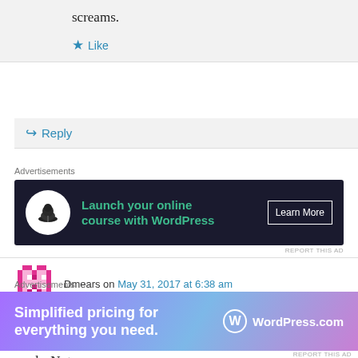screams.
★ Like
↪ Reply
Advertisements
[Figure (screenshot): Dark advertisement banner: circular white icon with bonsai tree, green text 'Launch your online course with WordPress', white 'Learn More' button]
REPORT THIS AD
Dmears on May 31, 2017 at 6:38 am
I can't stand her character either. She is a horrible person. As if some one with no education would be friends with these nerds. Not
Advertisements
[Figure (screenshot): WordPress.com ad banner with purple-blue gradient: 'Simplified pricing for everything you need.' with WordPress.com logo]